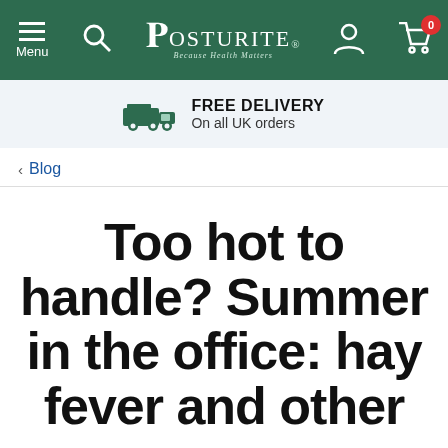Posturite — Menu, Search, Account, Cart (0)
FREE DELIVERY
On all UK orders
< Blog
Too hot to handle? Summer in the office: hay fever and other annoyances